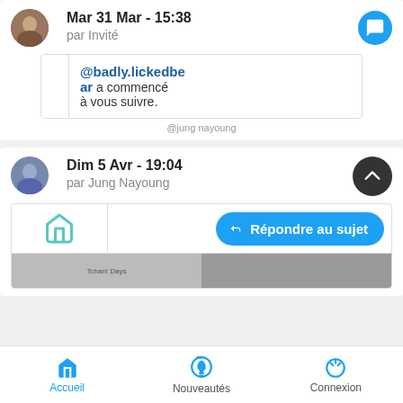Mar 31 Mar - 15:38
par Invité
@badly.lickedbe
ar a commencé
à vous suivre.
@jung nayoung
Dim 5 Avr - 19:04
par Jung Nayoung
Répondre au sujet
Accueil   Nouveautés   Connexion